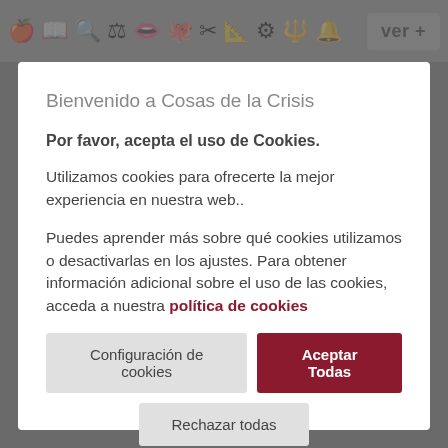[Figure (screenshot): Top navigation bar with icons and 'ver +' button on grey background]
Bienvenido a Cosas de la Crisis
Por favor, acepta el uso de Cookies.
Utilizamos cookies para ofrecerte la mejor experiencia en nuestra web..
Puedes aprender más sobre qué cookies utilizamos o desactivarlas en los ajustes. Para obtener información adicional sobre el uso de las cookies, acceda a nuestra política de cookies
Configuración de cookies
Aceptar Todas
Rechazar todas